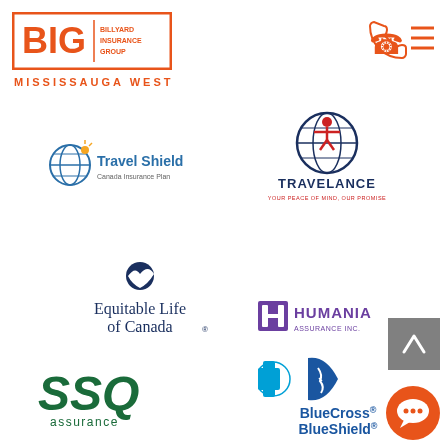[Figure (logo): BIG Billyard Insurance Group logo - orange border rectangle with BIG text and MISSISSAUGA WEST subtitle]
[Figure (logo): Orange phone and hamburger menu icons in top right]
[Figure (logo): Travel Shield Canada Insurance Plan logo]
[Figure (logo): Travelance - Your Peace of Mind, Our Promise logo with globe and figure]
[Figure (logo): Equitable Life of Canada logo with navy blue bird/person icon]
[Figure (logo): Humania Assurance Inc. logo in purple]
[Figure (logo): Gray up-arrow button]
[Figure (logo): SSQ assurance logo in dark green]
[Figure (logo): BlueCross BlueShield logo with blue cross and shield icons]
[Figure (logo): Orange chat bubble button with three dots]